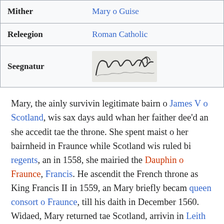| Field | Value |
| --- | --- |
| Mither | Mary o Guise |
| Releegion | Roman Catholic |
| Seegnatur | [signature image] |
Mary, the ainly survivin legitimate bairn o James V o Scotland, wis sax days auld whan her faither dee'd an she accedit tae the throne. She spent maist o her bairnheid in Fraunce while Scotland wis ruled bi regents, an in 1558, she mairied the Dauphin o Fraunce, Francis. He ascendit the French throne as King Francis II in 1559, an Mary briefly becam queen consort o Fraunce, till his daith in December 1560. Widaed, Mary returned tae Scotland, arrivin in Leith on 19 August 1561. Fower year later, she mairied her first cuisin, Henry Stuart, Laird Darnley, but thair union wis unhappy. In Februar 1567, his residence